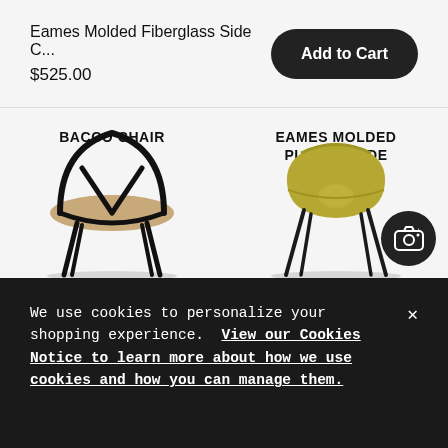Eames Molded Fiberglass Side C...
$525.00
Add to Cart
BACCO CHAIR
EAMES MOLDED PLASTIC SIDE CHAIR
[Figure (photo): Black Wishbone/Y Chair with woven natural seat]
[Figure (photo): Yellow/olive molded plastic side chair on dark legs]
We use cookies to personalize your shopping experience. View our Cookies Notice to learn more about how we use cookies and how you can manage them.